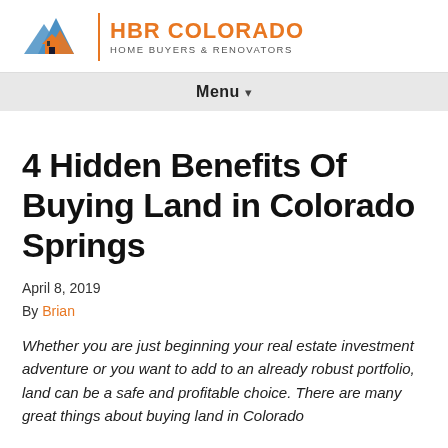HBR COLORADO HOME BUYERS & RENOVATORS
4 Hidden Benefits Of Buying Land in Colorado Springs
April 8, 2019
By Brian
Whether you are just beginning your real estate investment adventure or you want to add to an already robust portfolio, land can be a safe and profitable choice. There are many great things about buying land in Colorado